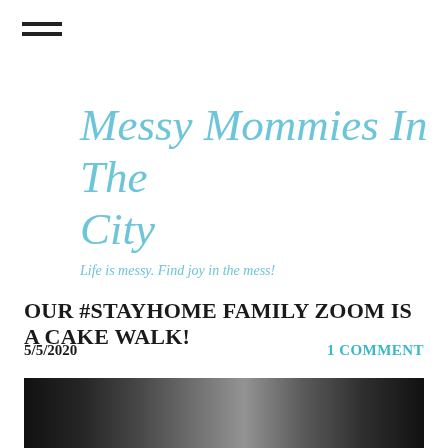[Figure (infographic): Hamburger menu icon (three horizontal lines)]
Messy Mommies In The City
Life is messy. Find joy in the mess!
OUR #STAYHOME FAMILY ZOOM IS A CAKE WALK!
5/5/2020
1 COMMENT
[Figure (photo): Partial photo strip at bottom of page, dark background with partially visible image content]